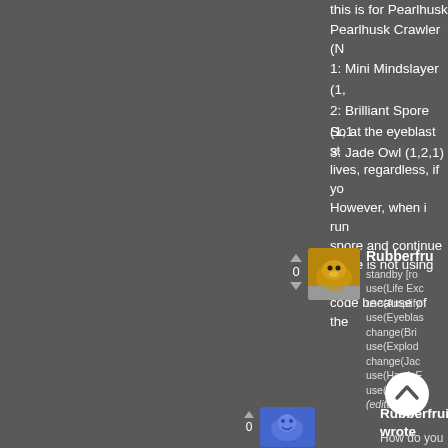this is for Pearlhusk Crawler (N
1: Mini Mindslayer (1,
2: Brilliant Spore (1,1
3: Jade Owl (1,2,1)
So at the eyeblast st lives, regardless, if yo However, when i run spore and continue spore is not using th code because of the
[Figure (screenshot): Forum comment by Rubberfru with cat avatar, score 0, showing game code: standby [ro use(Life Ex use(Amplify use(Eyeblas change(Bri use(Explod change(Jac use(Hawk E use(Lift-Of (edited)]
[Figure (screenshot): Scroll to top button (white circle with up chevron)]
Rubberfruit wrote
How do you writ